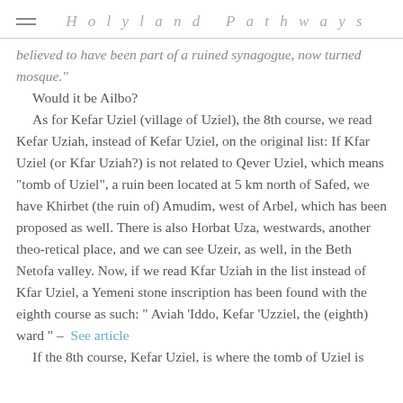Holyland Pathways
believed to have been part of a ruined synagogue, now turned mosque."
Would it be Ailbo?
  As for Kefar Uziel (village of Uziel), the 8th course, we read Kefar Uziah, instead of Kefar Uziel, on the original list: If Kfar Uziel (or Kfar Uziah?) is not related to Qever Uziel, which means "tomb of Uziel", a ruin been located at 5 km north of Safed, we have Khirbet (the ruin of) Amudim, west of Arbel, which has been proposed as well. There is also Horbat Uza, westwards, another theo-retical place, and we can see Uzeir, as well, in the Beth Netofa valley. Now, if we read Kfar Uziah in the list instead of Kfar Uziel, a Yemeni stone inscription has been found with the eighth course as such: " Aviah 'Iddo, Kefar 'Uzziel, the (eighth) ward " – See article
  If the 8th course, Kefar Uziel, is where the tomb of Uziel is